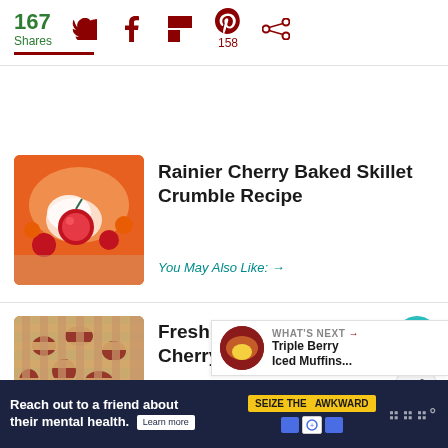167 Shares | Social share icons: Twitter, Facebook, Flipboard, Pinterest (158), Other
[Figure (photo): Rainier Cherry Baked Skillet Crumble with whipped cream and cherries]
Rainier Cherry Baked Skillet Crumble Recipe
You May Also Like: →
[Figure (photo): Fresh Rainier and Black Cherry Berry Pie with lattice crust]
Fresh Rainier and Black Cherry Berry Pie Recipe
You May Also Like: →
WHAT'S NEXT → Triple Berry Iced Muffins...
Reach out to a friend about their mental health. Learn more | SEIZE THE AWKWARD